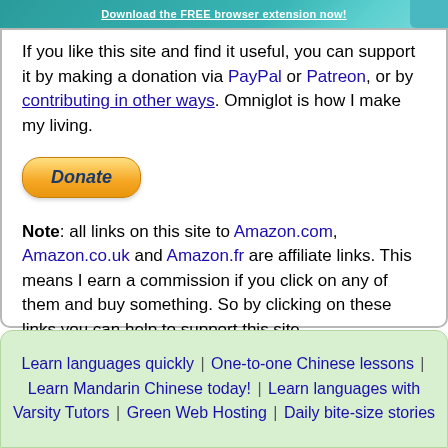Download the FREE browser extension now!
If you like this site and find it useful, you can support it by making a donation via PayPal or Patreon, or by contributing in other ways. Omniglot is how I make my living.
[Figure (other): PayPal Donate button - orange/yellow rounded rectangle button with italic bold text 'Donate']
Note: all links on this site to Amazon.com, Amazon.co.uk and Amazon.fr are affiliate links. This means I earn a commission if you click on any of them and buy something. So by clicking on these links you can help to support this site.
[top]
Learn languages quickly | One-to-one Chinese lessons | Learn Mandarin Chinese today! | Learn languages with Varsity Tutors | Green Web Hosting | Daily bite-size stories